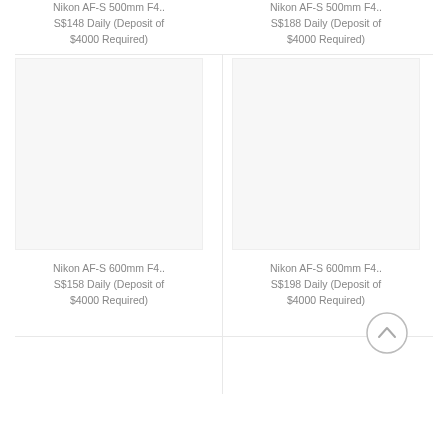Nikon AF-S 500mm F4.. S$148 Daily (Deposit of $4000 Required)
Nikon AF-S 500mm F4.. S$188 Daily (Deposit of $4000 Required)
[Figure (photo): Product listing image placeholder for Nikon AF-S 600mm F4 lens (left), white/gray background]
Nikon AF-S 600mm F4.. S$158 Daily (Deposit of $4000 Required)
[Figure (photo): Product listing image placeholder for Nikon AF-S 600mm F4 lens (right), white/gray background]
Nikon AF-S 600mm F4.. S$198 Daily (Deposit of $4000 Required)
[Figure (illustration): Back to top button - circle with upward chevron arrow]